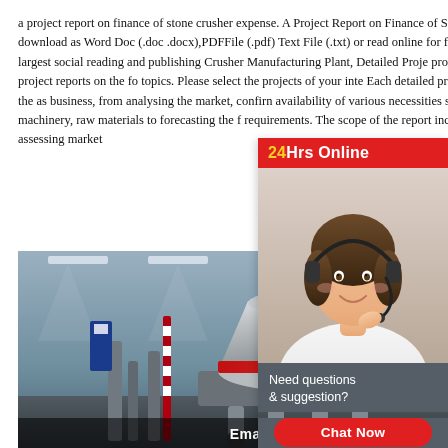a project report on finance of stone crusher expense. A Project Report on Finance of Stone Crusher- Free download as Word Doc (.doc .docx),PDFFile (.pdf) Text File (.txt) or read online for free. Scribd world's largest social reading and publishing Crusher Manufacturing Plant, Detailed Proje provide you detailed project reports on the fo topics. Please select the projects of your inte Each detailed project reports cover all the as business, from analysing the market, confirming availability of various necessities such as pla machinery, raw materials to forecasting the f requirements. The scope of the report includ assessing market
[Figure (screenshot): Chat widget with '24Hrs Online' header in red with yellow text, agent photo of smiling woman with headset, dark gray bubble with 'Need questions & suggestion?' text, and red rounded 'Chat Now' button]
[Figure (photo): Factory floor photo showing large stone crusher machinery (cone crushers) in an industrial manufacturing plant. Text overlay at bottom reads 'Email:lmzgvip@gmail.com']